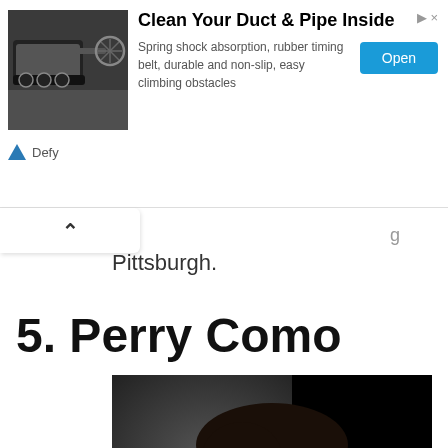[Figure (screenshot): Advertisement banner: Clean Your Duct & Pipe Inside. Shows a duct cleaning robot image on left, ad text in center, Open button on right. Defy logo at bottom left.]
Pittsburgh.
5. Perry Como
[Figure (photo): Black and white photograph of a young man (Perry Como) looking slightly upward, wearing a white shirt, against a dark background.]